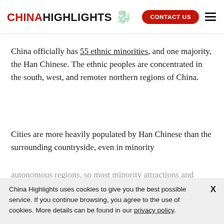CHINAHIGHLIGHTS | CONTACT US
China officially has 55 ethnic minorities, and one majority, the Han Chinese. The ethnic peoples are concentrated in the south, west, and remoter northern regions of China.
Cities are more heavily populated by Han Chinese than the surrounding countryside, even in minority autonomous regions, so most minority attractions and
China Highlights uses cookies to give you the best possible service. If you continue browsing, you agree to the use of cookies. More details can be found in our privacy policy.